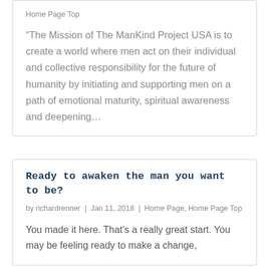Home Page Top
“The Mission of The ManKind Project USA is to create a world where men act on their individual and collective responsibility for the future of humanity by initiating and supporting men on a path of emotional maturity, spiritual awareness and deepening…
Ready to awaken the man you want to be?
by richardrenner | Jan 11, 2018 | Home Page, Home Page Top
You made it here. That’s a really great start. You may be feeling ready to make a change,